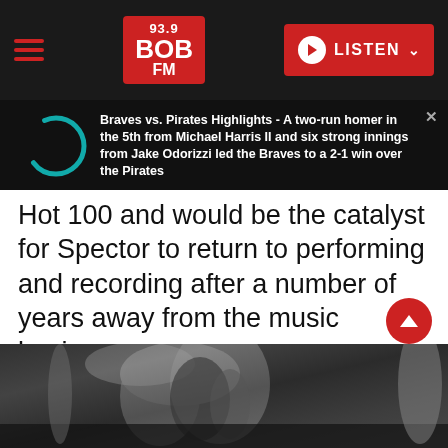93.9 BOB FM — LISTEN
Braves vs. Pirates Highlights - A two-run homer in the 5th from Michael Harris II and six strong innings from Jake Odorizzi led the Braves to a 2-1 win over the Pirates
Hot 100 and would be the catalyst for Spector to return to performing and recording after a number of years away from the music business.
[Figure (photo): Black and white photo of a person with flowing blonde hair, partially obscured]